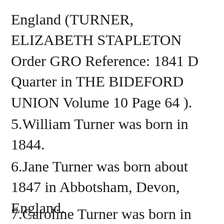England (TURNER, ELIZABETH STAPLETON Order GRO Reference: 1841 D Quarter in THE BIDEFORD UNION Volume 10 Page 64 ).
5.William Turner was born in 1844.
6.Jane Turner was born about 1847 in Abbotsham, Devon, England.
7.Caroline Turner was born in